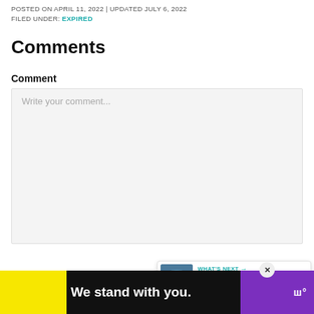POSTED ON APRIL 11, 2022 | UPDATED JULY 6, 2022
FILED UNDER: EXPIRED
Comments
Comment
[Figure (screenshot): A comment text area input box with placeholder text 'Write your comment...' on a light grey background, with a teal heart/like FAB button and a white share FAB button overlaid on the right side]
[Figure (infographic): WHAT'S NEXT card showing a thumbnail image of Palm Beach County waterfront scene, with label 'WHAT'S NEXT →' in teal and title 'Palm Beach County News']
[Figure (infographic): Advertisement banner: black background with yellow left block, bold white text 'We stand with you.', purple right block, close X button, and app logo]